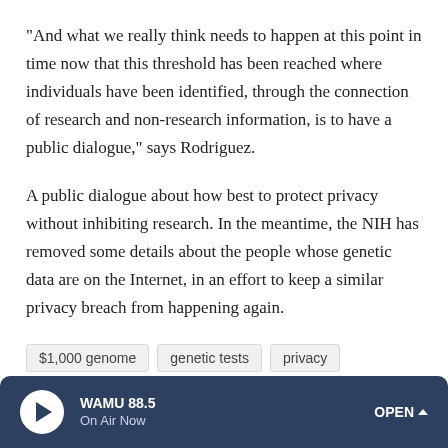"And what we really think needs to happen at this point in time now that this threshold has been reached where individuals have been identified, through the connection of research and non-research information, is to have a public dialogue," says Rodriguez.
A public dialogue about how best to protect privacy without inhibiting research. In the meantime, the NIH has removed some details about the people whose genetic data are on the Internet, in an effort to keep a similar privacy breach from happening again.
$1,000 genome
genetic tests
privacy
WAMU 88.5 On Air Now OPEN